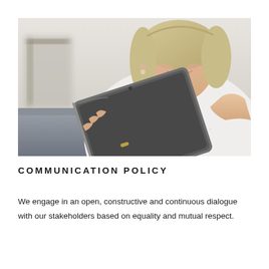[Figure (photo): A smiling middle-aged woman with blonde hair holding a tablet device, seated on a grey sofa, wearing a white top. The image has a warm, bright, blurred indoor background.]
COMMUNICATION POLICY
We engage in an open, constructive and continuous dialogue with our stakeholders based on equality and mutual respect.